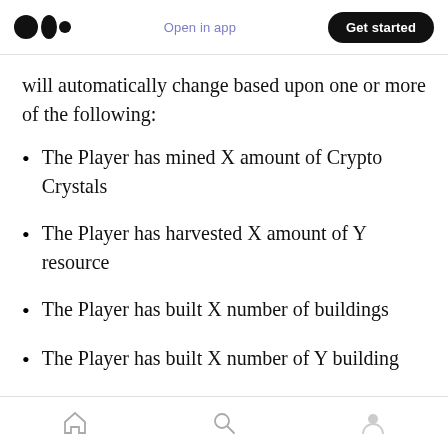Open in app  Get started
will automatically change based upon one or more of the following:
The Player has mined X amount of Crypto Crystals
The Player has harvested X amount of Y resource
The Player has built X number of buildings
The Player has built X number of Y building
The Player has summoned X number of
Home  Search  Profile